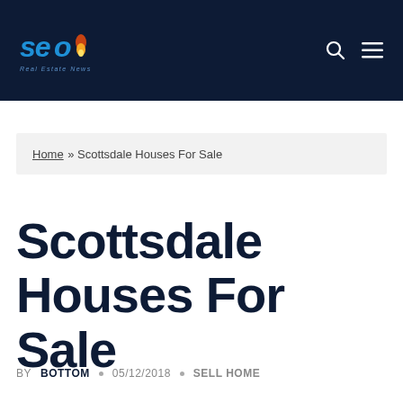SEO Real Estate News
Home » Scottsdale Houses For Sale
Scottsdale Houses For Sale
BY BOTTOM • 05/12/2018 • SELL HOME